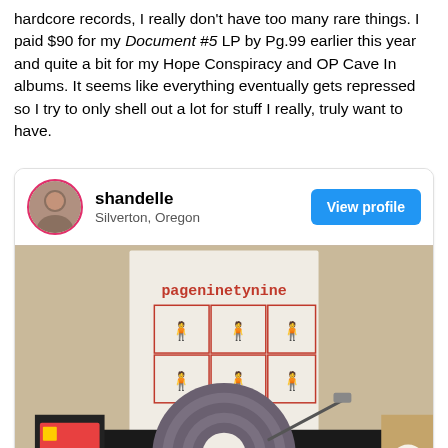hardcore records, I really don't have too many rare things. I paid $90 for my Document #5 LP by Pg.99 earlier this year and quite a bit for my Hope Conspiracy and OP Cave In albums. It seems like everything eventually gets repressed so I try to only shell out a lot for stuff I really, truly want to have.
[Figure (screenshot): A social media profile card for user 'shandelle' from Silverton, Oregon with a 'View profile' button and a photo of a vinyl record (Document #5 by pageninetynine) on a turntable.]